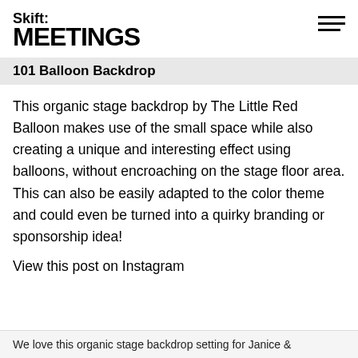Skift MEETINGS
101 Balloon Backdrop
This organic stage backdrop by The Little Red Balloon makes use of the small space while also creating a unique and interesting effect using balloons, without encroaching on the stage floor area. This can also be easily adapted to the color theme and could even be turned into a quirky branding or sponsorship idea!
View this post on Instagram
We love this organic stage backdrop setting for Janice &